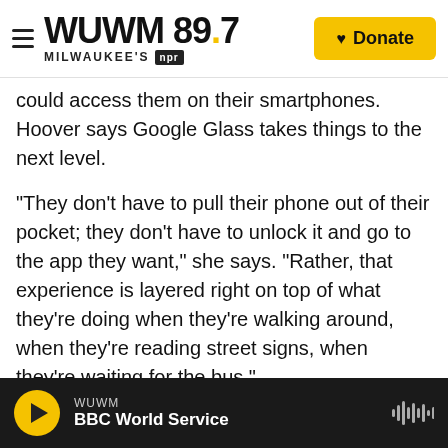WUWM 89.7 MILWAUKEE'S NPR — Donate
could access them on their smartphones. Hoover says Google Glass takes things to the next level.
"They don't have to pull their phone out of their pocket; they don't have to unlock it and go to the app they want," she says. "Rather, that experience is layered right on top of what they're doing when they're walking around, when they're reading street signs, when they're waiting for the bus."
And, she says, Google Glass wearers may even be able to receive information about a rally nearby, or volunteer opportunities, all based on their location at any moment.
WUWM — BBC World Service